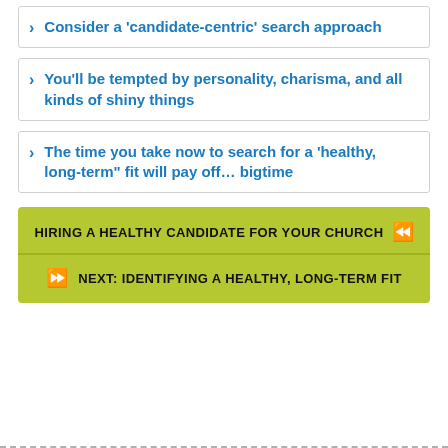Consider a 'candidate-centric' search approach
You'll be tempted by personality, charisma, and all kinds of shiny things
The time you take now to search for a 'healthy, long-term" fit will pay off... bigtime
HIRING A HEALTHY CANDIDATE FOR YOUR CHURCH
NEXT: IDENTIFYING A HEALTHY, LONG-TERM FIT